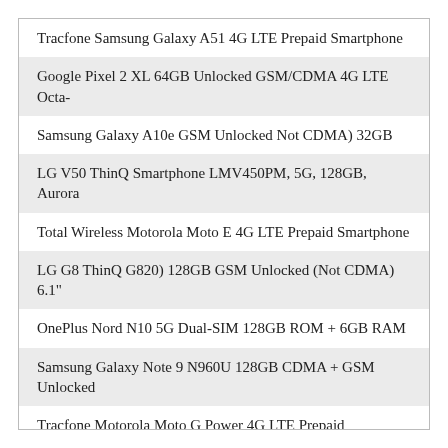Tracfone Samsung Galaxy A51 4G LTE Prepaid Smartphone
Google Pixel 2 XL 64GB Unlocked GSM/CDMA 4G LTE Octa-
Samsung Galaxy A10e GSM Unlocked Not CDMA) 32GB
LG V50 ThinQ Smartphone LMV450PM, 5G, 128GB, Aurora
Total Wireless Motorola Moto E 4G LTE Prepaid Smartphone
LG G8 ThinQ G820) 128GB GSM Unlocked (Not CDMA) 6.1"
OnePlus Nord N10 5G Dual-SIM 128GB ROM + 6GB RAM
Samsung Galaxy Note 9 N960U 128GB CDMA + GSM Unlocked
Tracfone Motorola Moto G Power 4G LTE Prepaid
Samsung Galaxy Note 9 N960U 128GB CDMA + GSM Unlocked